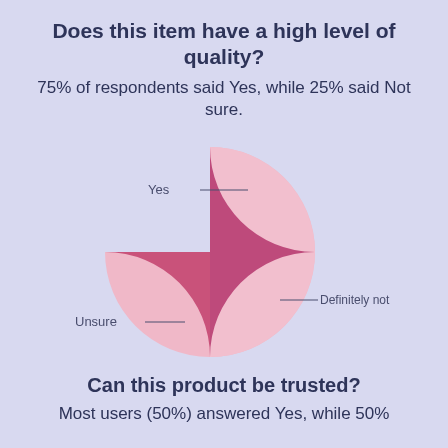Does this item have a high level of quality?
75% of respondents said Yes, while 25% said Not sure.
[Figure (pie-chart): Does this item have a high level of quality?]
Can this product be trusted?
Most users (50%) answered Yes, while 50%